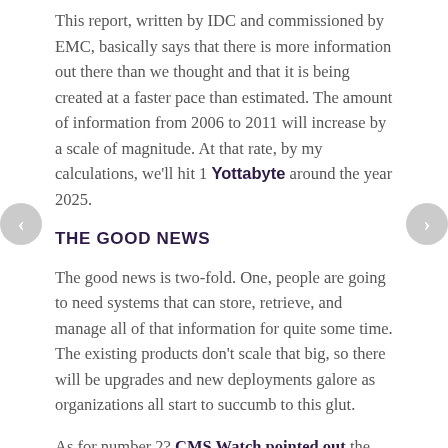This report, written by IDC and commissioned by EMC, basically says that there is more information out there than we thought and that it is being created at a faster pace than estimated. The amount of information from 2006 to 2011 will increase by a scale of magnitude. At that rate, by my calculations, we'll hit 1 Yottabyte around the year 2025.
THE GOOD NEWS
The good news is two-fold. One, people are going to need systems that can store, retrieve, and manage all of that information for quite some time. The existing products don't scale that big, so there will be upgrades and new deployments galore as organizations all start to succumb to this glut.
As for number 2? CMS Watch pointed out the other problem. There is more content being generated than